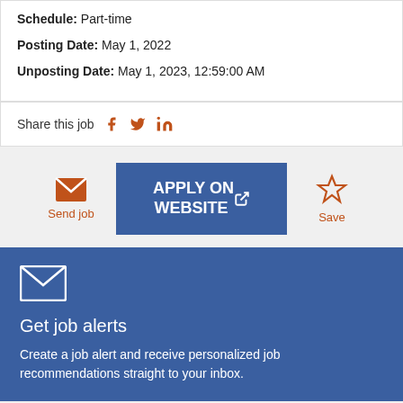Primary Location: Colorado Springs
Schedule: Part-time
Posting Date: May 1, 2022
Unposting Date: May 1, 2023, 12:59:00 AM
Share this job
Send job
APPLY ON WEBSITE
Save
Get job alerts
Create a job alert and receive personalized job recommendations straight to your inbox.